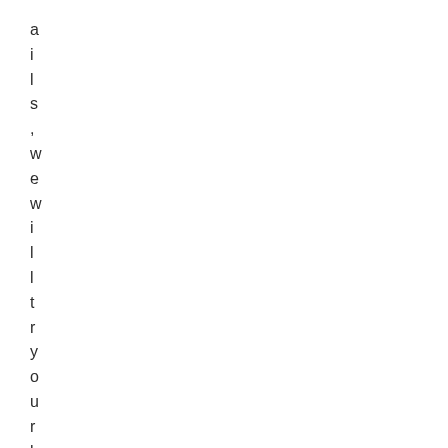ails, we will try your best to s